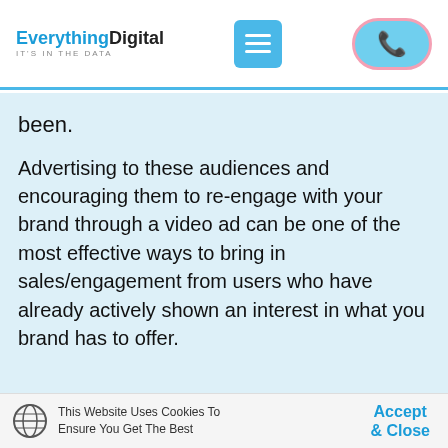[Figure (logo): Everything Digital logo with tagline IT'S IN THE DATA, hamburger menu button, and phone call button in header]
been.
Advertising to these audiences and encouraging them to re-engage with your brand through a video ad can be one of the most effective ways to bring in sales/engagement from users who have already actively shown an interest in what you brand has to offer.
This Website Uses Cookies To Ensure You Get The Best
Accept & Close